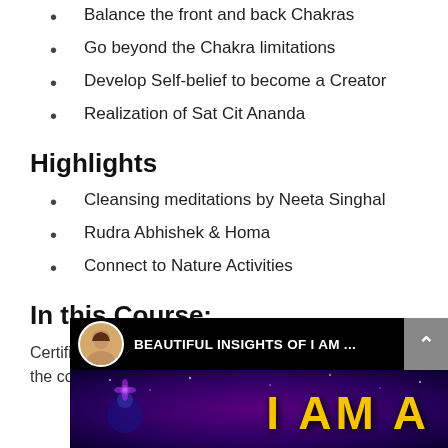Balance the front and back Chakras
Go beyond the Chakra limitations
Develop Self-belief to become a Creator
Realization of Sat Cit Ananda
Highlights
Cleansing meditations by Neeta Singhal
Rudra Abhishek & Homa
Connect to Nature Activities
In this Course:
Certificate will be provided on successful completion of the course
[Figure (screenshot): Video thumbnail showing 'BEAUTIFUL INSIGHTS OF I AM ...' with a woman's avatar photo and purple cosmic background with 'I AM A' text in yellow]